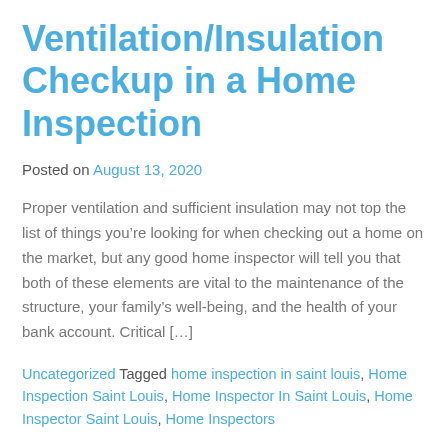Ventilation/Insulation Checkup in a Home Inspection
Posted on August 13, 2020
Proper ventilation and sufficient insulation may not top the list of things you’re looking for when checking out a home on the market, but any good home inspector will tell you that both of these elements are vital to the maintenance of the structure, your family’s well-being, and the health of your bank account. Critical […]
Uncategorized Tagged home inspection in saint louis, Home Inspection Saint Louis, Home Inspector In Saint Louis, Home Inspector Saint Louis, Home Inspectors